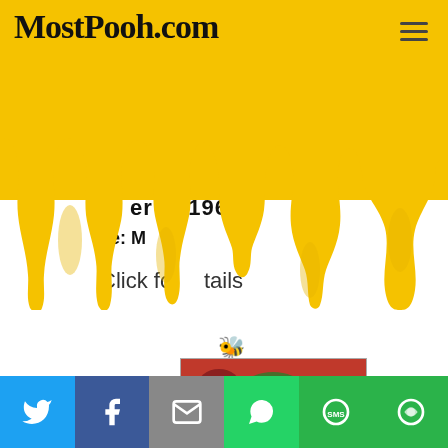MostPooh.com
[Figure (illustration): Yellow honey dripping banner with partially obscured text showing 'er 1960' and 'e: M e' and 'Click for details']
er 1960
e: M e
Click for details
[Figure (illustration): Bee emoji icon]
[Figure (photo): Movie poster featuring O.W. Fischer with illustrated faces of a woman, blonde person with military hat, and a man]
Twitter | Facebook | Email | WhatsApp | SMS | Share